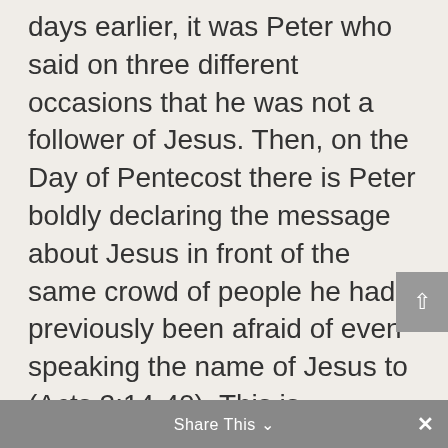days earlier, it was Peter who said on three different occasions that he was not a follower of Jesus. Then, on the Day of Pentecost there is Peter boldly declaring the message about Jesus in front of the same crowd of people he had previously been afraid of even speaking the name of Jesus to (Acts 2:14-40). This is parrhesia.
Let us focus on that word again; parrhesia. That is a Greek word that
Share This